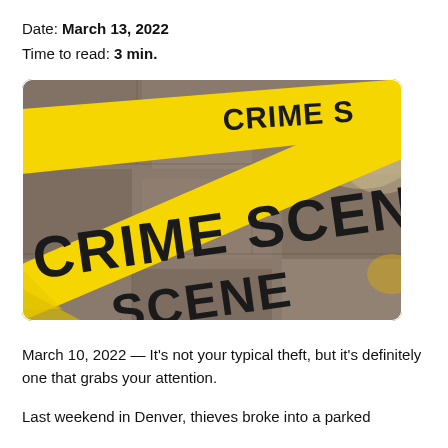Date: March 13, 2022
Time to read: 3 min.
[Figure (photo): Close-up photograph of yellow crime scene tape crossing in front of a stone wall, reading 'CRIME SCENE']
March 10, 2022 — It's not your typical theft, but it's definitely one that grabs your attention.
Last weekend in Denver, thieves broke into a parked